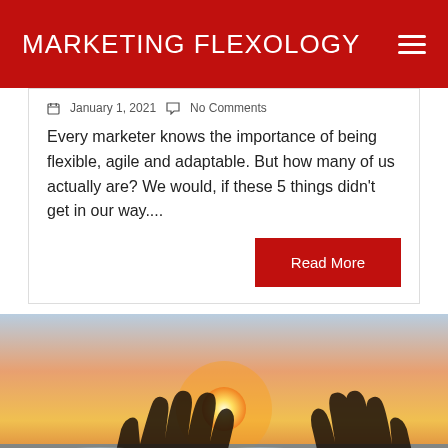MARKETING FLEXOLOGY
January 1, 2021   No Comments
Every marketer knows the importance of being flexible, agile and adaptable. But how many of us actually are? We would, if these 5 things didn't get in our way....
Read More
[Figure (photo): Two hands raised against a sunset sky over water, silhouetted against a bright orange and yellow sun with pink and blue sky.]